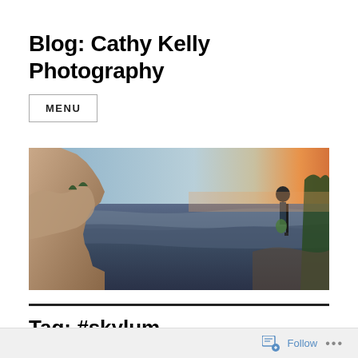Blog: Cathy Kelly Photography
MENU
[Figure (photo): Panoramic landscape photo of the Grand Canyon at sunset/dawn. A photographer with a tripod stands on the right side looking out over the vast canyon. Rocky cliffs are visible on the left, with a glowing orange and blue sky on the horizon.]
Tag: #skylum
Follow ...